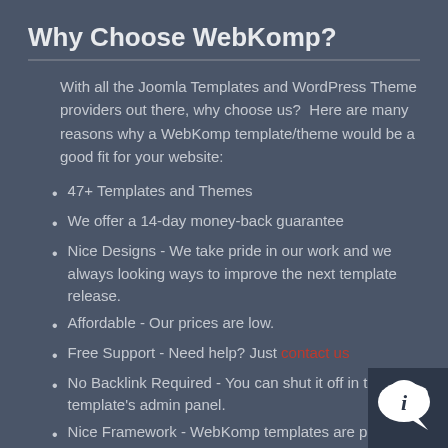Why Choose WebKomp?
With all the Joomla Templates and WordPress Theme providers out there, why choose us?  Here are many reasons why a WebKomp template/theme would be a good fit for your website:
47+ Templates and Themes
We offer a 14-day money-back guarantee
Nice Designs - We take pride in our work and we always looking ways to improve the next template release.
Affordable - Our prices are low.
Free Support - Need help? Just contact us
No Backlink Required - You can shut it off in the template's admin panel.
Nice Framework - WebKomp templates are powered by Warp7, Helix, T4, Gantry5 intuitive, wonderful, fast, lightweight, and feature-packed frameworks.